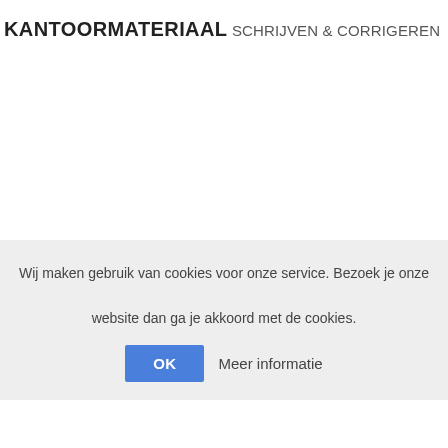KANTOORMATERIAAL
SCHRIJVEN & CORRIGEREN
Wij maken gebruik van cookies voor onze service. Bezoek je onze website dan ga je akkoord met de cookies.
OK  Meer informatie